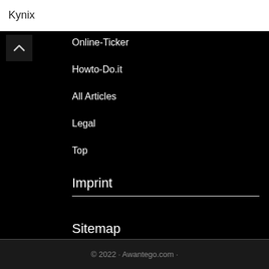Kynix
Online-Ticker
Howto-Do.it
All Articles
Legal
Top
Imprint
Sitemap
© 2022 · Awantego.com ·